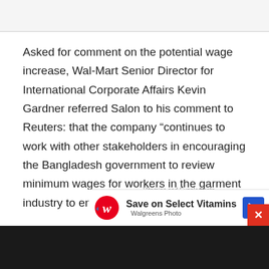Asked for comment on the potential wage increase, Wal-Mart Senior Director for International Corporate Affairs Kevin Gardner referred Salon to his comment to Reuters: that the company “continues to work with other stakeholders in encouraging the Bangladesh government to review minimum wages for workers in the garment industry to ensure worker needs are met.”
Nova told Salon that any hope for major improvements in Bangladesh wage standards and safety regulations “depends on the willingness of brands and retailers to